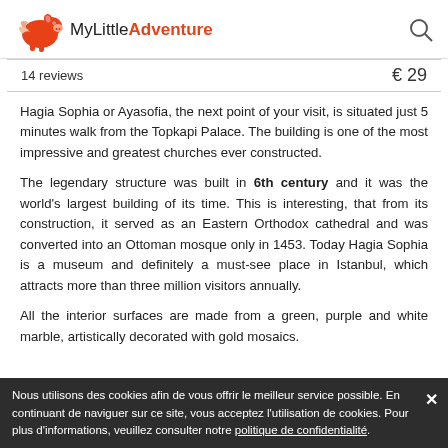MyLittleAdventure
| reviews | price |
| --- | --- |
| 14 reviews | € 29 |
Hagia Sophia or Ayasofia, the next point of your visit, is situated just 5 minutes walk from the Topkapi Palace. The building is one of the most impressive and greatest churches ever constructed.
The legendary structure was built in 6th century and it was the world's largest building of its time. This is interesting, that from its construction, it served as an Eastern Orthodox cathedral and was converted into an Ottoman mosque only in 1453. Today Hagia Sophia is a museum and definitely a must-see place in Istanbul, which attracts more than three million visitors annually.
All the interior surfaces are made from a green, purple and white marble, artistically decorated with gold mosaics.
Nous utilisons des cookies afin de vous offrir le meilleur service possible. En continuant de naviguer sur ce site, vous acceptez l'utilisation de cookies. Pour plus d'informations, veuillez consulter notre politique de confidentialité.